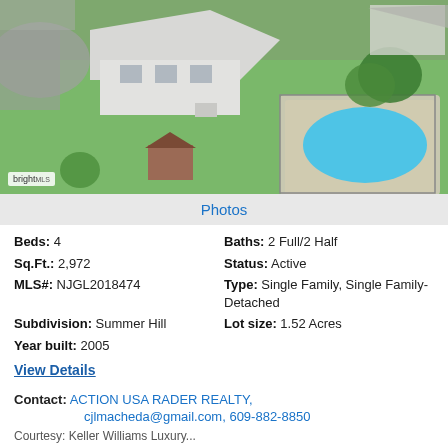[Figure (photo): Aerial view of a single-family home with a large green lawn, an in-ground swimming pool with pool deck, a small shed, driveway, and neighboring properties visible. Bright MLS watermark in lower left.]
Photos
Beds: 4   Baths: 2 Full/2 Half
Sq.Ft.: 2,972   Status: Active
MLS#: NJGL2018474   Type: Single Family, Single Family-Detached
Subdivision: Summer Hill   Lot size: 1.52 Acres
Year built: 2005
View Details
Contact: ACTION USA RADER REALTY, cjlmacheda@gmail.com, 609-882-8850
Courtesy: Keller Williams Luxury...